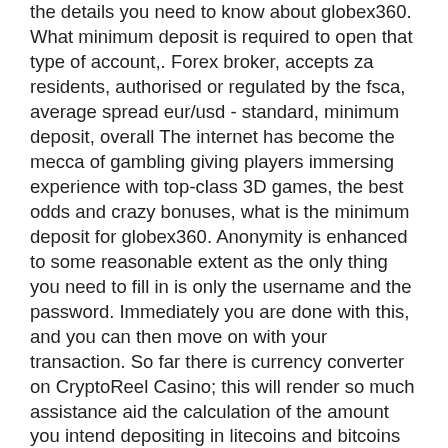the details you need to know about globex360. What minimum deposit is required to open that type of account,. Forex broker, accepts za residents, authorised or regulated by the fsca, average spread eur/usd - standard, minimum deposit, overall The internet has become the mecca of gambling giving players immersing experience with top-class 3D games, the best odds and crazy bonuses, what is the minimum deposit for globex360. Anonymity is enhanced to some reasonable extent as the only thing you need to fill in is only the username and the password. Immediately you are done with this, and you can then move on with your transaction. So far there is currency converter on CryptoReel Casino; this will render so much assistance aid the calculation of the amount you intend depositing in litecoins and bitcoins based on the amount of currency you wish to make use of while depositing in your account.